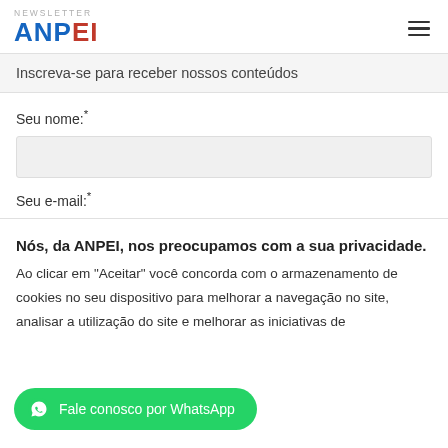NEWSLETTER ANPEI
Inscreva-se para receber nossos conteúdos
Seu nome:*
Seu e-mail:*
Nós, da ANPEI, nos preocupamos com a sua privacidade.
Ao clicar em "Aceitar" você concorda com o armazenamento de cookies no seu dispositivo para melhorar a navegação no site, analisar a utilização do site e melhorar as iniciativas de
Fale conosco por WhatsApp